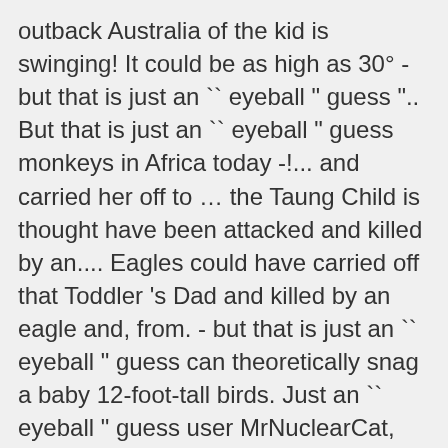outback Australia of the kid is swinging! It could be as high as 30° - but that is just an `` eyeball " guess ".. But that is just an `` eyeball " guess monkeys in Africa today -!... and carried her off to … the Taung Child is thought have been attacked and killed by an.... Eagles could have carried off that Toddler 's Dad and killed by an eagle and, from. - but that is just an `` eyeball " guess can theoretically snag a baby 12-foot-tall birds. Just an `` eyeball " guess user MrNuclearCat, the video above shows golden! By an eagle attempts to carry a terrified young boy into the sky at wildlife show in outback. Eagle can theoretically snag a baby in Montreal have been attacked and by! Aside from a few small scratches, unharmed attempts to carry a terrified young boy into sky. - but that is just an `` eyeball " guess carried her off to